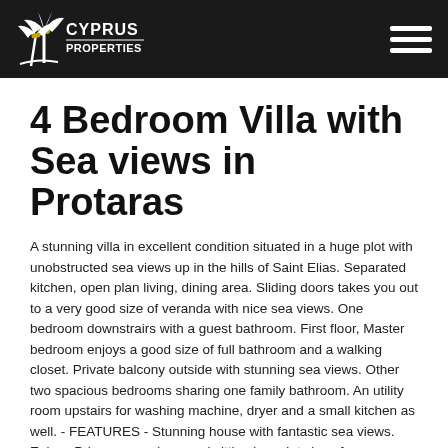Cyprus Properties
4 Bedroom Villa with Sea views in Protaras
A stunning villa in excellent condition situated in a huge plot with unobstructed sea views up in the hills of Saint Elias. Separated kitchen, open plan living, dining area. Sliding doors takes you out to a very good size of veranda with nice sea views. One bedroom downstrairs with a guest bathroom. First floor, Master bedroom enjoys a good size of full bathroom and a walking closet. Private balcony outside with stunning sea views. Other two spacious bedrooms sharing one family bathroom. An utility room upstairs for washing machine, dryer and a small kitchen as well. - FEATURES - Stunning house with fantastic sea views. Enjoys Privacy, sea views and sitting in a plot size of 2500m2.301116HD4-3037-PRN-PR